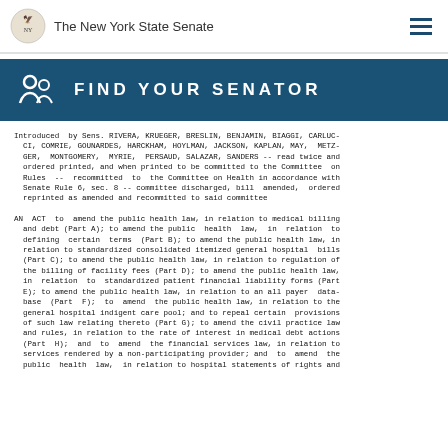The New York State Senate
FIND YOUR SENATOR
Introduced by Sens. RIVERA, KRUEGER, BRESLIN, BENJAMIN, BIAGGI, CARLUCCI, COMRIE, GOUNARDES, HARCKHAM, HOYLMAN, JACKSON, KAPLAN, MAY, METZGER, MONTGOMERY, MYRIE, PERSAUD, SALAZAR, SANDERS -- read twice and ordered printed, and when printed to be committed to the Committee on Rules -- recommitted to the Committee on Health in accordance with Senate Rule 6, sec. 8 -- committee discharged, bill amended, ordered reprinted as amended and recommitted to said committee
AN ACT to amend the public health law, in relation to medical billing and debt (Part A); to amend the public health law, in relation to defining certain terms (Part B); to amend the public health law, in relation to standardized consolidated itemized general hospital bills (Part C); to amend the public health law, in relation to regulation of the billing of facility fees (Part D); to amend the public health law, in relation to standardized patient financial liability forms (Part E); to amend the public health law, in relation to an all payer database (Part F); to amend the public health law, in relation to the general hospital indigent care pool; and to repeal certain provisions of such law relating thereto (Part G); to amend the civil practice law and rules, in relation to the rate of interest in medical debt actions (Part H); and to amend the financial services law, in relation to services rendered by a non-participating provider; and to amend the public health law, in relation to hospital statements of rights and